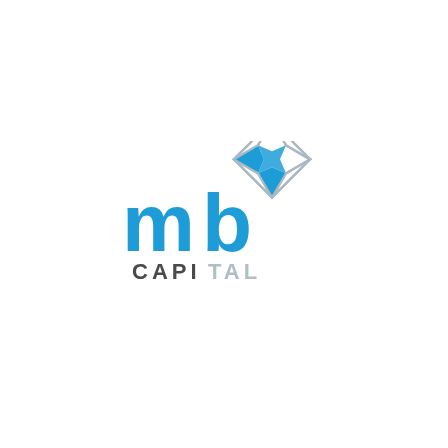[Figure (logo): MB Capital logo: lowercase blue 'mb' letters with a decorative 8-pointed star symbol in blue and grey above and to the right of the letters, and 'CAPITAL' text below in dark grey and light grey]